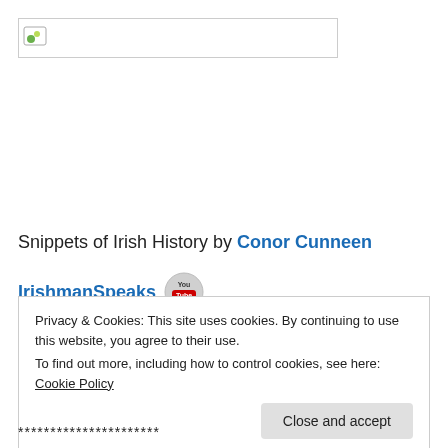[Figure (logo): Header image placeholder with small icon in top-left corner, bordered rectangle]
Snippets of Irish History by Conor Cunneen
IrishmanSpeaks
Privacy & Cookies: This site uses cookies. By continuing to use this website, you agree to their use.
To find out more, including how to control cookies, see here: Cookie Policy
Close and accept
**********************